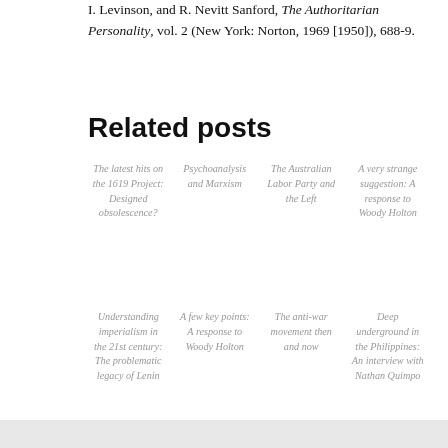I. Levinson, and R. Nevitt Sanford, The Authoritarian Personality, vol. 2 (New York: Norton, 1969 [1950]), 688-9.
Related posts
The latest hits on the 1619 Project: Designed obsolescence?
Psychoanalysis and Marxism
The Australian Labor Party and the Left
A very strange suggestion: A response to Woody Holton
Understanding imperialism in the 21st century: The problematic legacy of Lenin
A few key points: A response to Woody Holton
The anti-war movement then and now
Deep underground in the Philippines: An interview with Nathan Quimpo